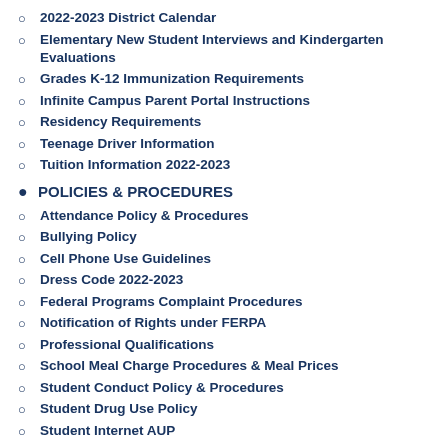2022-2023 District Calendar
Elementary New Student Interviews and Kindergarten Evaluations
Grades K-12 Immunization Requirements
Infinite Campus Parent Portal Instructions
Residency Requirements
Teenage Driver Information
Tuition Information 2022-2023
POLICIES & PROCEDURES
Attendance Policy & Procedures
Bullying Policy
Cell Phone Use Guidelines
Dress Code 2022-2023
Federal Programs Complaint Procedures
Notification of Rights under FERPA
Professional Qualifications
School Meal Charge Procedures & Meal Prices
Student Conduct Policy & Procedures
Student Drug Use Policy
Student Internet AUP
Student Medication Policy